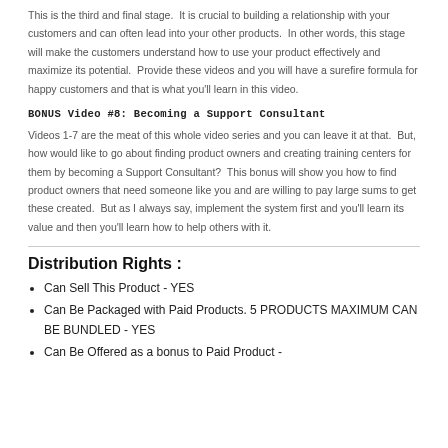This is the third and final stage.  It is crucial to building a relationship with your customers and can often lead into your other products.  In other words, this stage will make the customers understand how to use your product effectively and maximize its potential.  Provide these videos and you will have a surefire formula for happy customers and that is what you'll learn in this video.
BONUS Video #8: Becoming a Support Consultant
Videos 1-7 are the meat of this whole video series and you can leave it at that.  But, how would like to go about finding product owners and creating training centers for them by becoming a Support Consultant?  This bonus will show you how to find product owners that need someone like you and are willing to pay large sums to get these created.  But as I always say, implement the system first and you'll learn its value and then you'll learn how to help others with it.
Distribution Rights :
Can Sell This Product - YES
Can Be Packaged with Paid Products. 5 PRODUCTS MAXIMUM CAN BE BUNDLED - YES
Can Be Offered as a bonus to Paid Product -